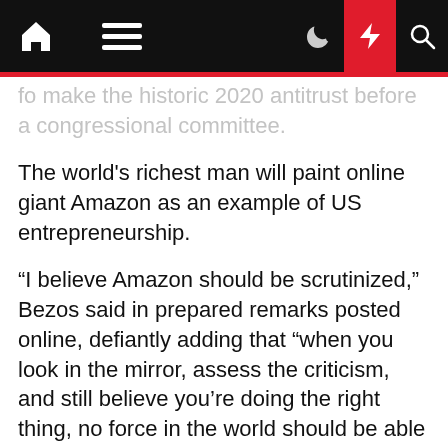[Navigation bar with home, menu, moon, bolt, search icons]
fo make the historic 2020 antitrust before a congressional committee.
The world's richest man will paint online giant Amazon as an example of US entrepreneurship.
“I believe Amazon should be scrutinized,” Bezos said in prepared remarks posted online, defiantly adding that “when you look in the mirror, assess the criticism, and still believe you’re doing the right thing, no force in the world should be able to move you.”
Zuckerberg called social media colossus Facebook a "proudly American company" in prepared marks ahead of the hearing.
"Our story would not have been possible without US laws that encourage competition and innovation," he said.